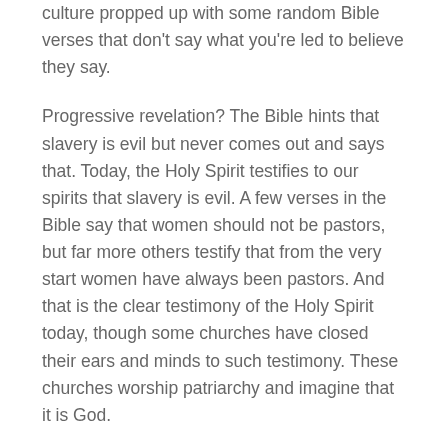culture propped up with some random Bible verses that don't say what you're led to believe they say.
Progressive revelation? The Bible hints that slavery is evil but never comes out and says that. Today, the Holy Spirit testifies to our spirits that slavery is evil. A few verses in the Bible say that women should not be pastors, but far more others testify that from the very start women have always been pastors. And that is the clear testimony of the Holy Spirit today, though some churches have closed their ears and minds to such testimony. These churches worship patriarchy and imagine that it is God.
God is not mad at you. God also is not a sexist